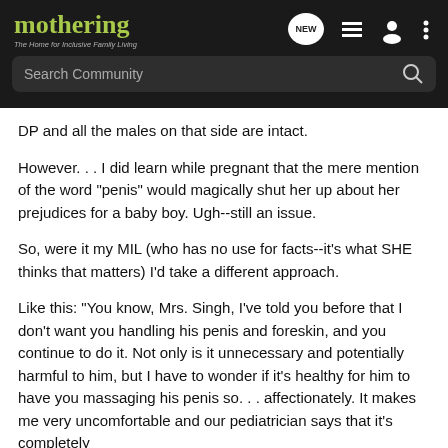mothering — The Home for Inclusive Family Living
DP and all the males on that side are intact.
However. . . I did learn while pregnant that the mere mention of the word "penis" would magically shut her up about her prejudices for a baby boy. Ugh--still an issue.
So, were it my MIL (who has no use for facts--it's what SHE thinks that matters) I'd take a different approach.
Like this: "You know, Mrs. Singh, I've told you before that I don't want you handling his penis and foreskin, and you continue to do it. Not only is it unnecessary and potentially harmful to him, but I have to wonder if it's healthy for him to have you massaging his penis so. . . affectionately. It makes me very uncomfortable and our pediatrician says that it's completely